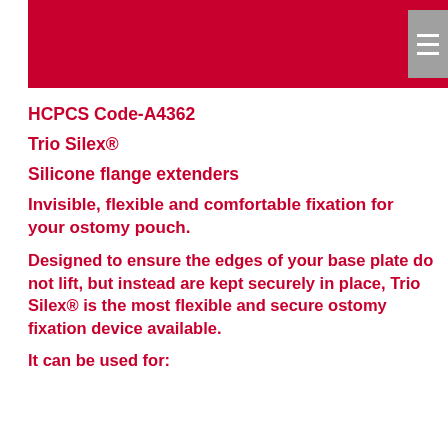[Figure (other): Red header banner with hamburger menu icon in grey box at top right]
HCPCS Code-A4362
Trio Silex®
Silicone flange extenders
Invisible, flexible and comfortable fixation for your ostomy pouch.
Designed to ensure the edges of your base plate do not lift, but instead are kept securely in place, Trio Silex® is the most flexible and secure ostomy fixation device available.
It can be used for: